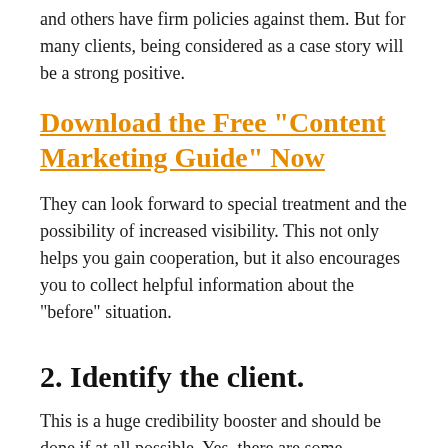and others have firm policies against them. But for many clients, being considered as a case story will be a strong positive.
Download the Free “Content Marketing Guide” Now
They can look forward to special treatment and the possibility of increased visibility. This not only helps you gain cooperation, but it also encourages you to collect helpful information about the “before” situation.
2. Identify the client.
This is a huge credibility booster and should be done if at all possible. Yes, there are some